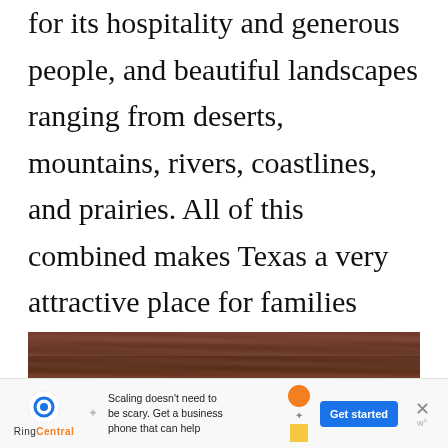for its hospitality and generous people, and beautiful landscapes ranging from deserts, mountains, rivers, coastlines, and prairies. All of this combined makes Texas a very attractive place for families looking to relocate.
[Figure (photo): A wooden surface with a chalk-drawn triangle/arrow shape pointing upward, partially visible at the bottom of the image.]
[Figure (infographic): Advertisement banner for RingCentral. Text reads: 'Scaling doesn't need to be scary. Get a business phone that can help' with a 'Get started' button.]